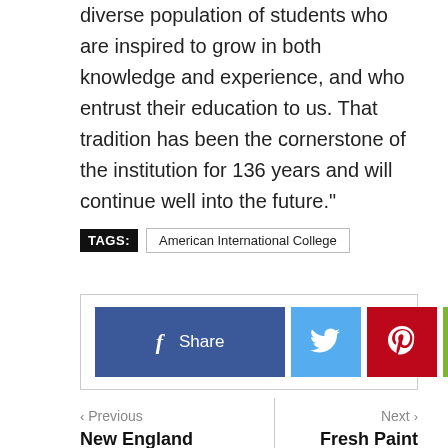diverse population of students who are inspired to grow in both knowledge and experience, and who entrust their education to us. That tradition has been the cornerstone of the institution for 136 years and will continue well into the future.”
TAGS: American International College
[Figure (infographic): Social share buttons: Facebook Share button (blue), Twitter bird icon (light blue), Pinterest icon (red), share icon (green)]
‹ Previous
New England Public Media President Martin Miller to Step
Next ›
Fresh Paint Springfield Mural Festival to Return June 5-13